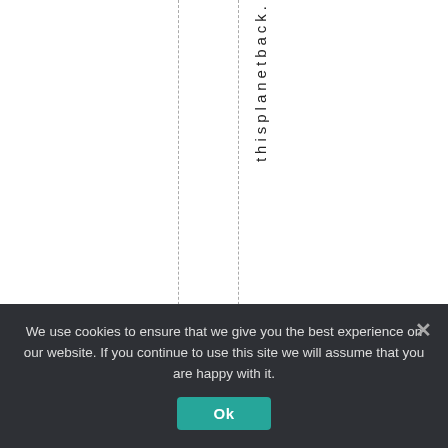thisplanetback.
👍 5  👎 0
We use cookies to ensure that we give you the best experience on our website. If you continue to use this site we will assume that you are happy with it.